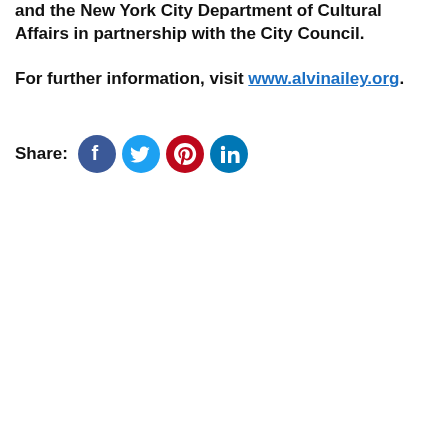and the New York City Department of Cultural Affairs in partnership with the City Council.
For further information, visit www.alvinailey.org.
[Figure (infographic): Social media share icons: Facebook (blue), Twitter (light blue), Pinterest (red), LinkedIn (dark blue)]